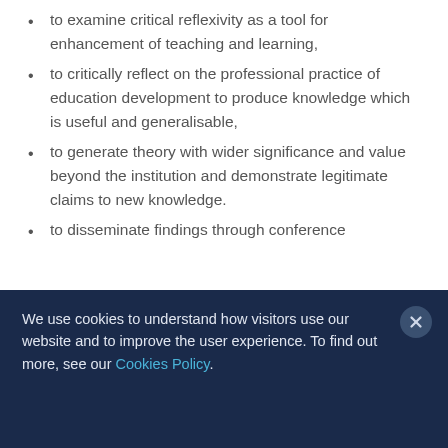to examine critical reflexivity as a tool for enhancement of teaching and learning,
to critically reflect on the professional practice of education development to produce knowledge which is useful and generalisable,
to generate theory with wider significance and value beyond the institution and demonstrate legitimate claims to new knowledge.
to disseminate findings through conference
We use cookies to understand how visitors use our website and to improve the user experience. To find out more, see our Cookies Policy.